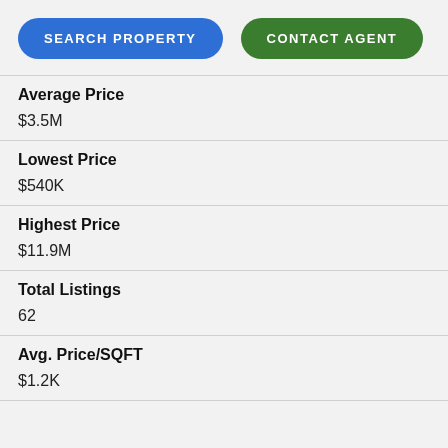SEARCH PROPERTY | CONTACT AGENT
Average Price
$3.5M
Lowest Price
$540K
Highest Price
$11.9M
Total Listings
62
Avg. Price/SQFT
$1.2K